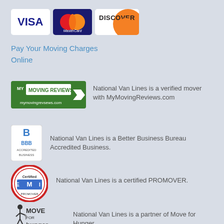[Figure (logo): Visa, MasterCard, and Discover credit card logos]
Pay Your Moving Charges Online
[Figure (logo): My Moving Reviews badge logo - green with white arrow]
National Van Lines is a verified mover with MyMovingReviews.com
[Figure (logo): BBB Accredited Business logo]
National Van Lines is a Better Business Bureau Accredited Business.
[Figure (logo): Certified ProMover badge logo]
National Van Lines is a certified PROMOVER.
[Figure (logo): Move for Hunger logo]
National Van Lines is a partner of Move for Hunger